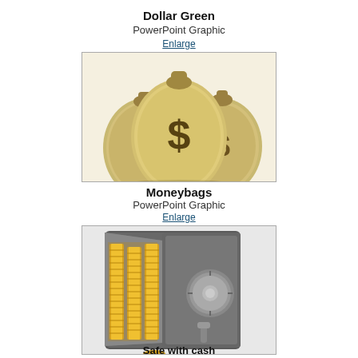Dollar Green
PowerPoint Graphic
Enlarge
[Figure (illustration): Three golden money bags with dollar signs on them, clustered together on a green surface]
Moneybags
PowerPoint Graphic
Enlarge
[Figure (illustration): An open metal safe filled with stacked gold coins, with a combination lock dial visible on the door]
Safe with cash